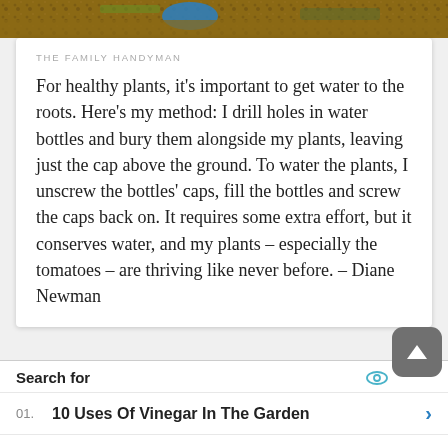[Figure (photo): Top portion of an outdoor/garden photo showing soil, rocks, and a blue object]
THE FAMILY HANDYMAN
For healthy plants, it's important to get water to the roots. Here's my method: I drill holes in water bottles and bury them alongside my plants, leaving just the cap above the ground. To water the plants, I unscrew the bottles' caps, fill the bottles and screw the caps back on. It requires some extra effort, but it conserves water, and my plants – especially the tomatoes – are thriving like never before. – Diane Newman
Search for
01.  10 Uses Of Vinegar In The Garden
02.  Cheap Garden Decor Ideas
Yahoo! Search | Sponsored